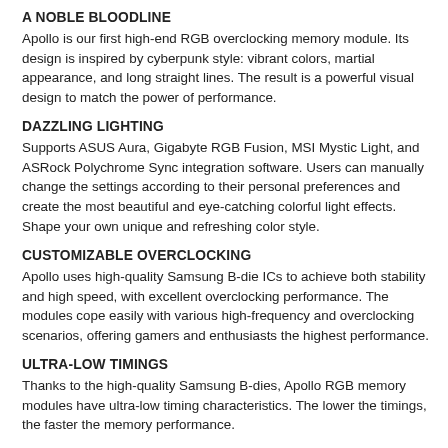A NOBLE BLOODLINE
Apollo is our first high-end RGB overclocking memory module. Its design is inspired by cyberpunk style: vibrant colors, martial appearance, and long straight lines. The result is a powerful visual design to match the power of performance.
DAZZLING LIGHTING
Supports ASUS Aura, Gigabyte RGB Fusion, MSI Mystic Light, and ASRock Polychrome Sync integration software. Users can manually change the settings according to their personal preferences and create the most beautiful and eye-catching colorful light effects. Shape your own unique and refreshing color style.
CUSTOMIZABLE OVERCLOCKING
Apollo uses high-quality Samsung B-die ICs to achieve both stability and high speed, with excellent overclocking performance. The modules cope easily with various high-frequency and overclocking scenarios, offering gamers and enthusiasts the highest performance.
ULTRA-LOW TIMINGS
Thanks to the high-quality Samsung B-dies, Apollo RGB memory modules have ultra-low timing characteristics. The lower the timings, the faster the memory performance.